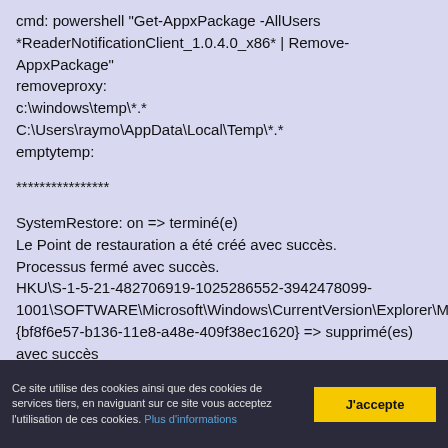cmd: powershell "Get-AppxPackage -AllUsers *ReaderNotificationClient_1.0.4.0_x86* | Remove-AppxPackage"
removeproxy:
c:\windows\temp\*.*
C:\Users\raymo\AppData\Local\Temp\*.*
emptytemp:

****************

SystemRestore: on => terminé(e)
Le Point de restauration a été créé avec succès.
Processus fermé avec succès.
HKU\S-1-5-21-482706919-1025286552-3942478099-1001\SOFTWARE\Microsoft\Windows\CurrentVersion\Explorer\Mou
{bf8f6e57-b136-11e8-a48e-409f38ec1620} => supprimé(es)
avec succès
"HKU\S-1-5-21-482706919-1025286552-3942478099-1001\SOFTWARE\Microsoft\Internet
Ce site utilise des cookies ainsi que des cookies de services tiers, en naviguant sur ce site vous acceptez l'utilisation de ces cookies. Plus d'informations